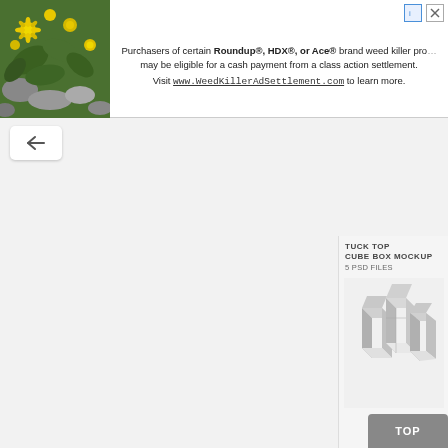[Figure (screenshot): A screenshot of a webpage with an advertisement banner at top for Roundup/HDX/Ace weed killer class action settlement, a back navigation button, two white content panels side by side, and a right sidebar showing a 'Tuck Top Cube Box Mockup 5 PSD Files' advertisement with box mockup images and a '01' section number.]
Purchasers of certain Roundup®, HDX®, or Ace® brand weed killer products may be eligible for a cash payment from a class action settlement. Visit www.WeedKillerAdSettlement.com to learn more.
TUCK TOP CUBE BOX MOCKUP 5 PSD FILES
01
TOP